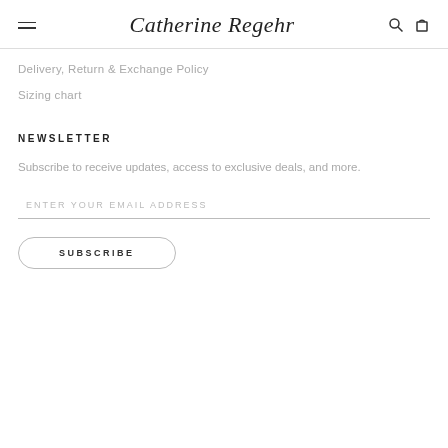Catherine Regehr
Delivery, Return & Exchange Policy
Sizing chart
NEWSLETTER
Subscribe to receive updates, access to exclusive deals, and more.
ENTER YOUR EMAIL ADDRESS
SUBSCRIBE